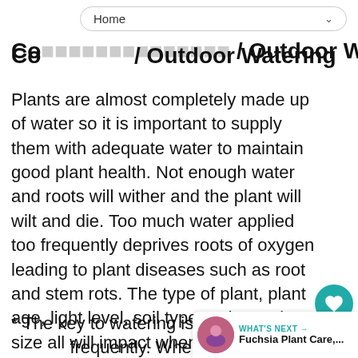Home
Containers / Outdoor Watering
Plants are almost completely made up of water so it is important to supply them with adequate water to maintain good plant health. Not enough water and roots will wither and the plant will wilt and die. Too much water applied too frequently deprives roots of oxygen leading to plant diseases such as root and stem rots. The type of plant, plant age, light level, soil type and container size all will impact when plant needs to be watered. Follow these tips to ensure successful watering:
* The key to watering is water deeply but not frequently. When watering, water well, i.e. provide enough water to thoroughly saturate